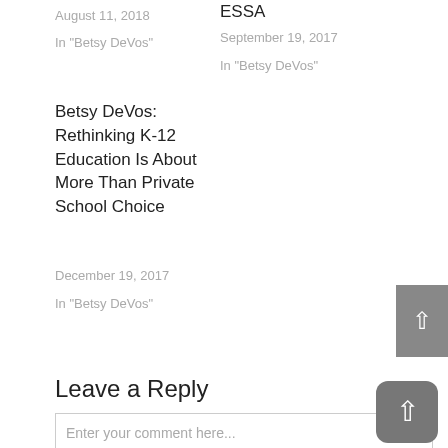August 11, 2018
In "Betsy DeVos"
ESSA
September 19, 2017
In "Betsy DeVos"
Betsy DeVos: Rethinking K-12 Education Is About More Than Private School Choice
December 19, 2017
In "Betsy DeVos"
Leave a Reply
Enter your comment here...